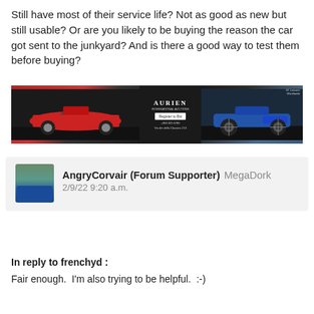Still have most of their service life? Not as good as new but still usable? Or are you likely to be buying the reason the car got sent to the junkyard? And is there a good way to test them before buying?
[Figure (photo): Car auction advertisement banner with a red Lamborghini Countach on the left and a blue vintage Bugatti on the right, dark background with auction house branding in the center.]
AngryCorvair (Forum Supporter) MegaDork
2/9/22 9:20 a.m.
In reply to frenchyd :
Fair enough.  I'm also trying to be helpful.  :-)